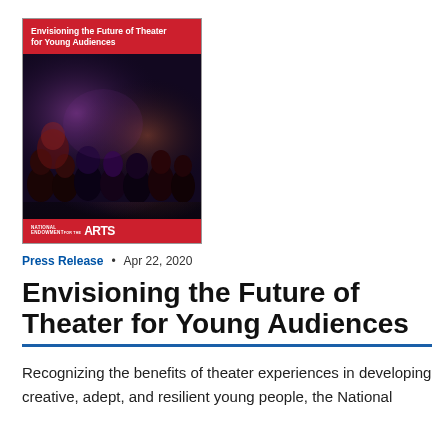[Figure (illustration): Book cover for 'Envisioning the Future of Theater for Young Audiences' published by the National Endowment for the Arts. Features red header bar with title text, a dark photo of a theater audience with purple and red lighting, and a red footer with the NEA logo.]
Press Release • Apr 22, 2020
Envisioning the Future of Theater for Young Audiences
Recognizing the benefits of theater experiences in developing creative, adept, and resilient young people, the National